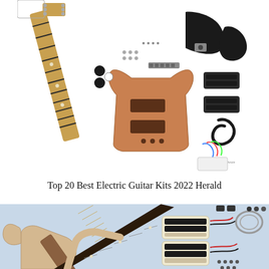[Figure (photo): Exploded flat-lay of an electric guitar DIY kit showing unfinished mahogany SG-style body, fretboard neck, humbucker pickups, black pickguard, chrome hardware, tuners, knobs, wiring harness, and cables arranged on a white background.]
Top 20 Best Electric Guitar Kits 2022 Herald
[Figure (photo): Partially assembled electric guitar kit with unfinished maple body and fretboard neck, two cream humbucker pickups, wiring cables, and hardware components arranged on a light blue background.]